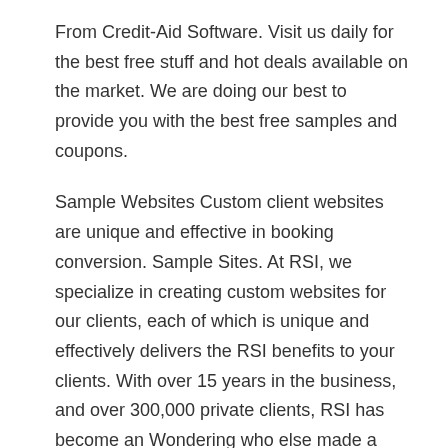From Credit-Aid Software. Visit us daily for the best free stuff and hot deals available on the market. We are doing our best to provide you with the best free samples and coupons.
Sample Websites Custom client websites are unique and effective in booking conversion. Sample Sites. At RSI, we specialize in creating custom websites for our clients, each of which is unique and effectively delivers the RSI benefits to your clients. With over 15 years in the business, and over 300,000 private clients, RSI has become an Wondering who else made a beautiful website with TipTopWebsite.com ?Take a look at some amazing websites from our happy customers on our samples page. Online since 2005.
Check out our Most Recent Websites. Click here to sign up for your own free 30 Day Wild Apricot site. Missouri Watercolor Society Sep 30, 2019B B· Best Free Sample Sites. There are